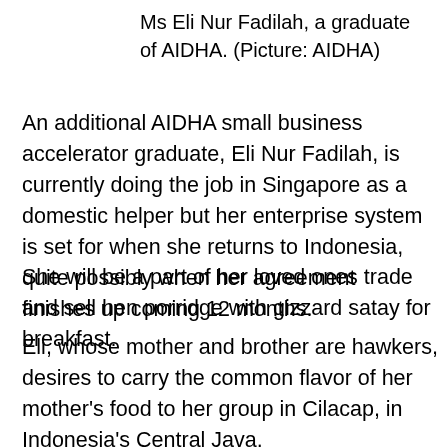Ms Eli Nur Fadilah, a graduate of AIDHA. (Picture: AIDHA)
An additional AIDHA small business accelerator graduate, Eli Nur Fadilah, is currently doing the job in Singapore as a domestic helper but her enterprise system is set for when she returns to Indonesia, quite possibly when her agreement finishes up coming 12 months.
She will be a part of her loved ones trade and sell hen porridge with gizzard satay for breakfast.
Eli, whose mother and brother are hawkers, desires to carry the common flavor of her mother's food to her group in Cilacap, in Indonesia's Central Java.